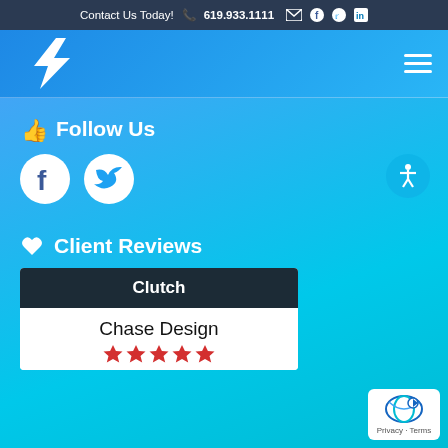Contact Us Today! 619.933.1111
[Figure (logo): Lightning bolt logo icon in white on blue gradient background with hamburger menu icon]
Follow Us
[Figure (illustration): Facebook and Twitter circular social media icons in white]
Client Reviews
[Figure (screenshot): Clutch review widget showing Chase Design with star rating]
Chase Design
[Figure (illustration): Accessibility icon button (person with arms out in circle) on right side]
Privacy · Terms